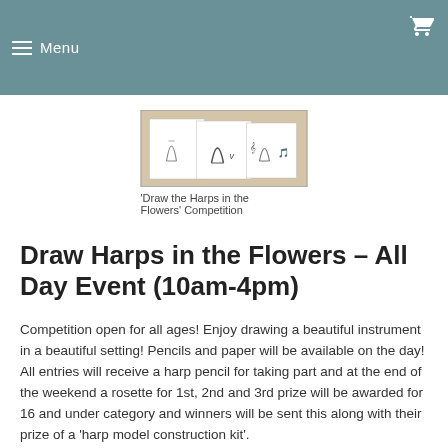Menu
[Figure (photo): Photo of children's drawings of harps displayed on paper sheets]
'Draw the Harps in the Flowers' Competition
Draw Harps in the Flowers – All Day Event (10am-4pm)
Competition open for all ages! Enjoy drawing a beautiful instrument in a beautiful setting! Pencils and paper will be available on the day! All entries will receive a harp pencil for taking part and at the end of the weekend a rosette for 1st, 2nd and 3rd prize will be awarded for 16 and under category and winners will be sent this along with their prize of a 'harp model construction kit'.
The winners will be announced on the 2nd of July via